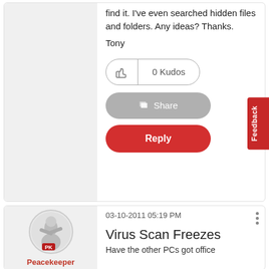find it. I've even searched hidden files and folders. Any ideas? Thanks.
Tony
0 Kudos
Share
Reply
Feedback
03-10-2011 05:19 PM
Virus Scan Freezes
Have the other PCs got office
[Figure (illustration): Peacekeeper user avatar - circular avatar with a figure graphic and PK label]
Peacekeeper